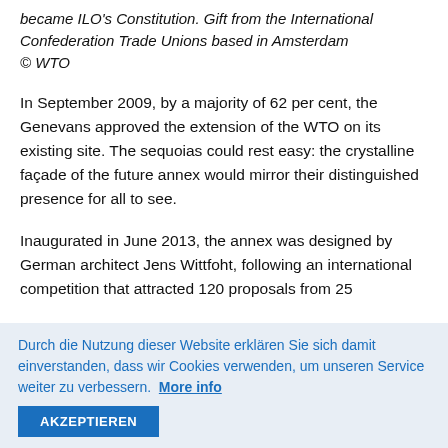became ILO's Constitution. Gift from the International Confederation Trade Unions based in Amsterdam
© WTO
In September 2009, by a majority of 62 per cent, the Genevans approved the extension of the WTO on its existing site. The sequoias could rest easy: the crystalline façade of the future annex would mirror their distinguished presence for all to see.
Inaugurated in June 2013, the annex was designed by German architect Jens Wittfoht, following an international competition that attracted 120 proposals from 25
Durch die Nutzung dieser Website erklären Sie sich damit einverstanden, dass wir Cookies verwenden, um unseren Service weiter zu verbessern. More info
AKZEPTIEREN